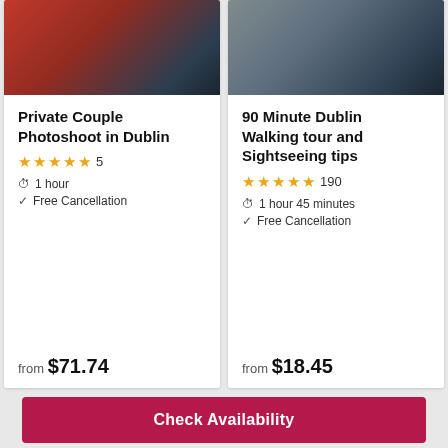[Figure (photo): Photo of a person with arms raised in front of a colorful Dublin storefront]
Private Couple Photoshoot in Dublin
★★★★★ 5
1 hour
Free Cancellation
from $71.74
[Figure (photo): Photo of a couple walking on a Dublin street]
90 Minute Dublin Walking tour and Sightseeing tips
★★★★★ 190
1 hour 45 minutes
Free Cancellation
from $18.45
Check Availability